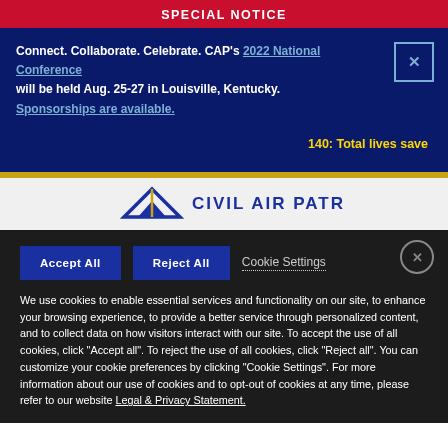SPECIAL NOTICE
Connect. Collaborate. Celebrate. CAP's 2022 National Conference will be held Aug. 25-27 in Louisville, Kentucky. Sponsorships are available.
140: Total lives save
[Figure (logo): Civil Air Patrol logo with mountain/chevron symbol and text CIVIL AIR PATROL]
Accept All | Reject All | Cookie Settings
We use cookies to enable essential services and functionality on our site, to enhance your browsing experience, to provide a better service through personalized content, and to collect data on how visitors interact with our site. To accept the use of all cookies, click "Accept all". To reject the use of all cookies, click "Reject all". You can customize your cookie preferences by clicking "Cookie Settings". For more information about our use of cookies and to opt-out of cookies at any time, please refer to our website Legal & Privacy Statement.